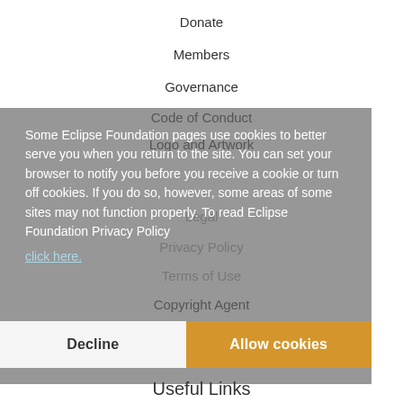Donate
Members
Governance
Code of Conduct
Logo and Artwork
Legal
Privacy Policy
Terms of Use
Copyright Agent
Eclipse Public License
Legal Resources
Some Eclipse Foundation pages use cookies to better serve you when you return to the site. You can set your browser to notify you before you receive a cookie or turn off cookies. If you do so, however, some areas of some sites may not function properly. To read Eclipse Foundation Privacy Policy click here.
Useful Links